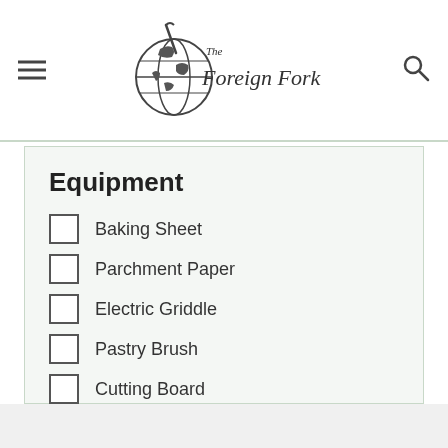The Foreign Fork
Equipment
Baking Sheet
Parchment Paper
Electric Griddle
Pastry Brush
Cutting Board
Knife